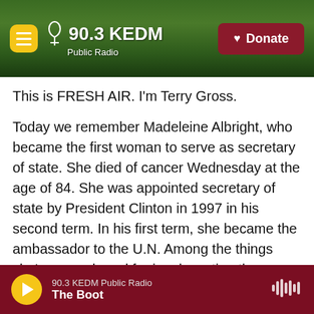90.3 KEDM Public Radio — Donate
This is FRESH AIR. I'm Terry Gross.
Today we remember Madeleine Albright, who became the first woman to serve as secretary of state. She died of cancer Wednesday at the age of 84. She was appointed secretary of state by President Clinton in 1997 in his second term. In his first term, she became the ambassador to the U.N. Among the things she's remembered for is advocating the expansion of NATO into the former Soviet bloc countries of Eastern Europe. Some of the other issues and crises she contended with during the Clinton years include the war in the
90.3 KEDM Public Radio — The Boot